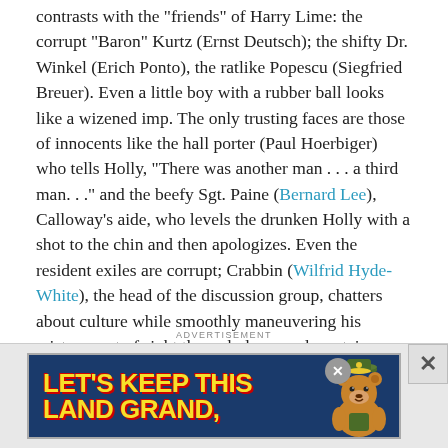contrasts with the "friends" of Harry Lime: the corrupt "Baron" Kurtz (Ernst Deutsch); the shifty Dr. Winkel (Erich Ponto), the ratlike Popescu (Siegfried Breuer). Even a little boy with a rubber ball looks like a wizened imp. The only trusting faces are those of innocents like the hall porter (Paul Hoerbiger) who tells Holly, "There was another man . . . a third man. . ." and the beefy Sgt. Paine (Bernard Lee), Calloway's aide, who levels the drunken Holly with a shot to the chin and then apologizes. Even the resident exiles are corrupt; Crabbin (Wilfrid Hyde-White), the head of the discussion group, chatters about culture while smoothly maneuvering his mistress out of sight through doors and up stairs.
ADVERTISEMENT
[Figure (other): Advertisement banner reading 'LET'S KEEP THIS LAND GRAND.' with a cartoon bear mascot wearing a ranger hat, on a dark blue background with yellow text.]